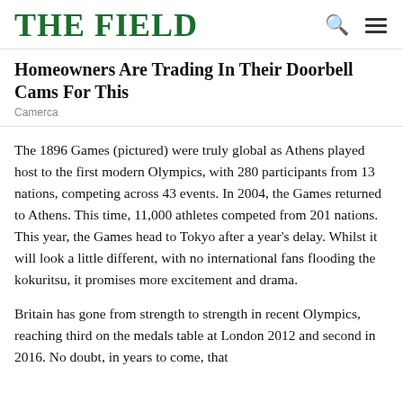THE FIELD
Homeowners Are Trading In Their Doorbell Cams For This
Camerca
The 1896 Games (pictured) were truly global as Athens played host to the first modern Olympics, with 280 participants from 13 nations, competing across 43 events. In 2004, the Games returned to Athens. This time, 11,000 athletes competed from 201 nations. This year, the Games head to Tokyo after a year's delay. Whilst it will look a little different, with no international fans flooding the kokuritsu, it promises more excitement and drama.
Britain has gone from strength to strength in recent Olympics, reaching third on the medals table at London 2012 and second in 2016. No doubt, in years to come, that